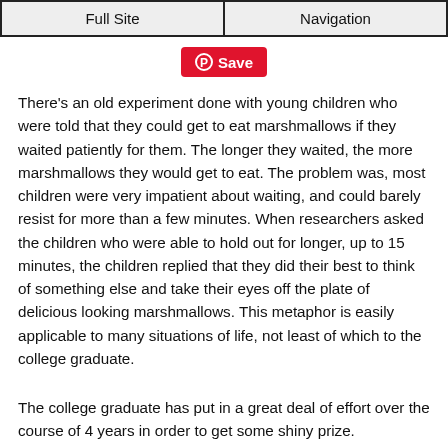Full Site | Navigation
[Figure (other): Pinterest Save button in red with Pinterest logo icon]
There's an old experiment done with young children who were told that they could get to eat marshmallows if they waited patiently for them. The longer they waited, the more marshmallows they would get to eat. The problem was, most children were very impatient about waiting, and could barely resist for more than a few minutes. When researchers asked the children who were able to hold out for longer, up to 15 minutes, the children replied that they did their best to think of something else and take their eyes off the plate of delicious looking marshmallows. This metaphor is easily applicable to many situations of life, not least of which to the college graduate.
The college graduate has put in a great deal of effort over the course of 4 years in order to get some shiny prize. Graduation equals victory! The diploma and the two letters (B.A./B.S.) equal achievement deserving of reward! Many graduates feel the urge to splurge in several ways after graduation, not only in the immediate time frame but long after. In my experience, graduates tend to feel that having completed their degree they should be launched into a